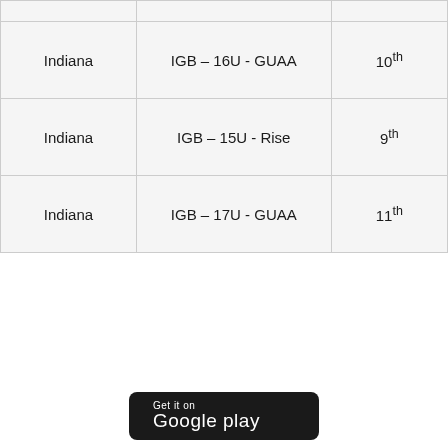|  |  |  |
| Indiana | IGB – 16U - GUAA | 10th |
| Indiana | IGB – 15U - Rise | 9th |
| Indiana | IGB – 17U - GUAA | 11th |
[Figure (logo): Get it on Google Play badge — black rounded rectangle with Google Play triangle logo and white text 'Get it on Google play']